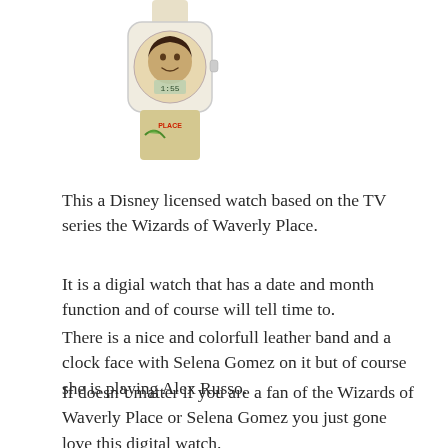[Figure (photo): A Disney licensed watch for the Wizards of Waverly Place TV series, showing the watch face and band with colorful decoration and a character image.]
This a Disney licensed watch based on the TV series the Wizards of Waverly Place.
It is a digial watch that has a date and month function and of course will tell time to.
There is a nice and colorfull leather band and a clock face with Selena Gomez on it but of course she is playing Alex Russo.
If doesn’t matter if you are a fan of the Wizards of Waverly Place or Selena Gomez you just gone love this digital watch.